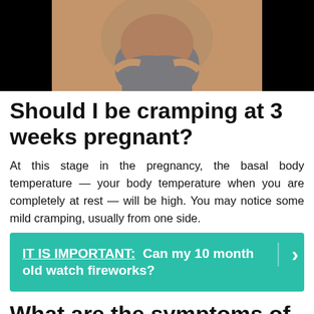[Figure (photo): Partial view of a woman in a grey top against a black background]
Should I be cramping at 3 weeks pregnant?
At this stage in the pregnancy, the basal body temperature — your body temperature when you are completely at rest — will be high. You may notice some mild cramping, usually from one side.
IT IS IMPORTANT: Can my 10 month old watch fireworks?
What are the symptoms of 2 3 weeks pregnant?